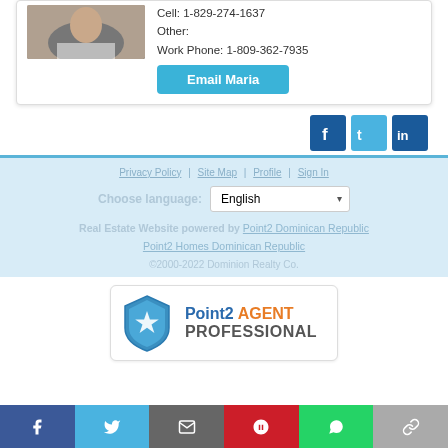Cell: 1-829-274-1637
Other:
Work Phone: 1-809-362-7935
Email Maria
[Figure (logo): Social media icons: Facebook (dark blue), Twitter (light blue), LinkedIn (dark blue)]
Privacy Policy | Site Map | Profile | Sign In
Choose language: English
Real Estate Website powered by Point2 Dominican Republic
Point2 Homes Dominican Republic
©2000-2022 Dominion Realty Co.
[Figure (logo): Point2 AGENT PROFESSIONAL badge with shield icon containing a star]
Facebook share | Twitter share | Email share | Pinterest share | WhatsApp share | Link share